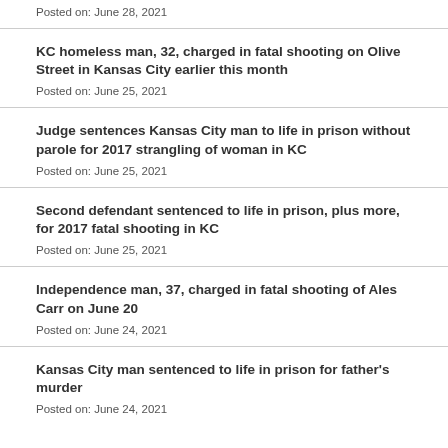Posted on: June 28, 2021
KC homeless man, 32, charged in fatal shooting on Olive Street in Kansas City earlier this month
Posted on: June 25, 2021
Judge sentences Kansas City man to life in prison without parole for 2017 strangling of woman in KC
Posted on: June 25, 2021
Second defendant sentenced to life in prison, plus more, for 2017 fatal shooting in KC
Posted on: June 25, 2021
Independence man, 37, charged in fatal shooting of Ales Carr on June 20
Posted on: June 24, 2021
Kansas City man sentenced to life in prison for father's murder
Posted on: June 24, 2021